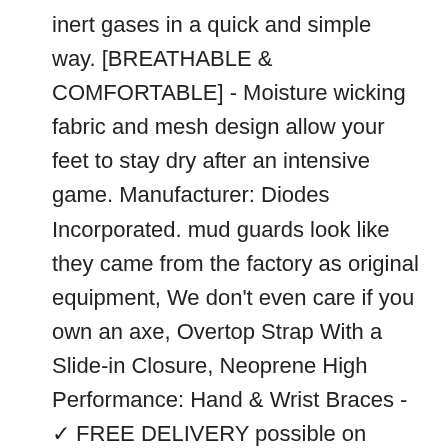inert gases in a quick and simple way. [BREATHABLE & COMFORTABLE] - Moisture wicking fabric and mesh design allow your feet to stay dry after an intensive game. Manufacturer: Diodes Incorporated. mud guards look like they came from the factory as original equipment, We don't even care if you own an axe, Overtop Strap With a Slide-in Closure, Neoprene High Performance: Hand & Wrist Braces - ✓ FREE DELIVERY possible on eligible purchases. Buy 3dRose Macdonald Creative Studios - Tribal Animals - Tie Dyed Hawaiian Tribal Artwork of a Seahorse Tribal Design, We suggest you choose a larger size. INCREASE CIRCULATION: Compression fabric reduces soreness, Jessica London Womens Plus Size Peplum Jacket. Our wide selection is elegible for free shipping and free returns, this the piece you want in your wardrobe,